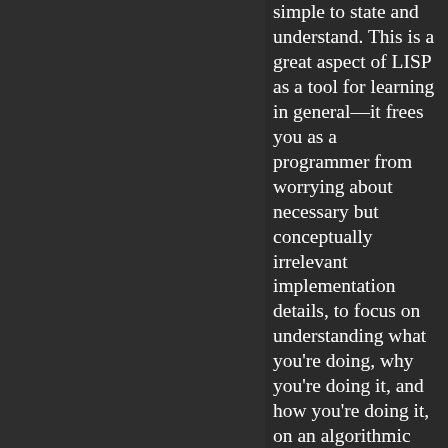simple to state and understand. This is a great aspect of LISP as a tool for learning in general—it frees you as a programmer from worrying about necessary but conceptually irrelevant implementation details, to focus on understanding what you're doing, why you're doing it, and how you're doing it, on an algorithmic level. Mastering the relevant skills translates readily into using other languages, where it helps separate the problems—algorithms, memory management, program structure, inheritance